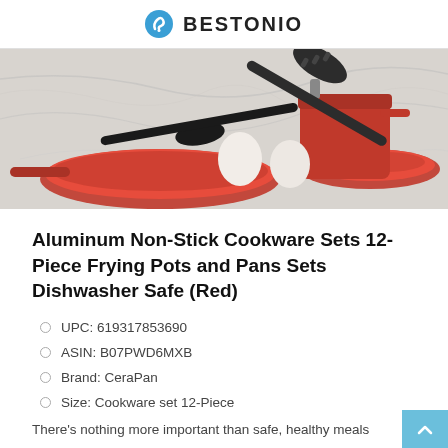BESTONIO
[Figure (photo): Red cookware set including frying pans and pots with black utensils (spatula and slotted spoon) and two white eggs on a marble surface]
Aluminum Non-Stick Cookware Sets 12-Piece Frying Pots and Pans Sets Dishwasher Safe (Red)
UPC: 619317853690
ASIN: B07PWD6MXB
Brand: CeraPan
Size: Cookware set 12-Piece
There's nothing more important than safe, healthy meals